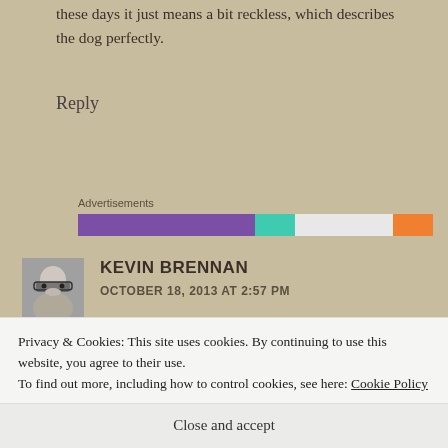these days it just means a bit reckless, which describes the dog perfectly.
Reply
[Figure (infographic): Advertisements bar with purple, teal, white, and orange segments]
KEVIN BRENNAN
OCTOBER 18, 2013 AT 2:57 PM
[Figure (photo): Black and white photo of a person holding binoculars]
Privacy & Cookies: This site uses cookies. By continuing to use this website, you agree to their use.
To find out more, including how to control cookies, see here: Cookie Policy
Close and accept